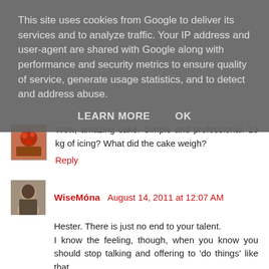This site uses cookies from Google to deliver its services and to analyze traffic. Your IP address and user-agent are shared with Google along with performance and security metrics to ensure quality of service, generate usage statistics, and to detect and address abuse.
LEARN MORE    OK
Wow, amazing cake. Simple and professional. 13 kg of icing? What did the cake weigh?
Reply
WiseMóna August 14, 2011 at 12:07 AM
Hester. There is just no end to your talent.
I know the feeling, though, when you know you should stop talking and offering to 'do things' like that.

But, wow. What a lovely gift to be able to give those you love. You are a rock star.